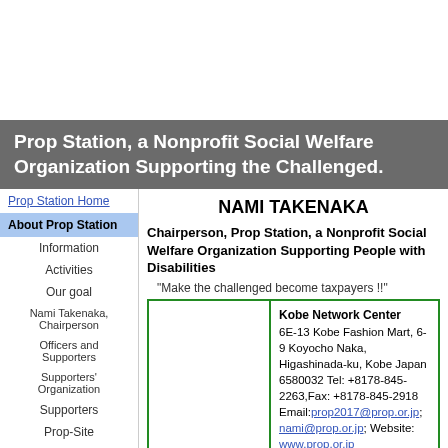Prop Station, a Nonprofit Social Welfare Organization Supporting the Challenged.
Prop Station Home
About Prop Station
Information
Activities
Our goal
Nami Takenaka, Chairperson
Officers and Supporters
Supporters' Organization
Supporters
Prop-Site
Contact
Services
Consultations
Computer Seminars
NAMI TAKENAKA
Chairperson, Prop Station, a Nonprofit Social Welfare Organization Supporting People with Disabilities
"Make the challenged become taxpayers !!"
Kobe Network Center
6E-13 Kobe Fashion Mart, 6-9 Koyocho Naka, Higashinada-ku, Kobe Japan 6580032 Tel: +8178-845-2263,Fax: +8178-845-2918
Email:prop2017@prop.or.jp; nami@prop.or.jp; Website: www.prop.or.jp
Prop Station Osaka Office
Tel: +816-6881-0041, Fax: +816-6881-3866